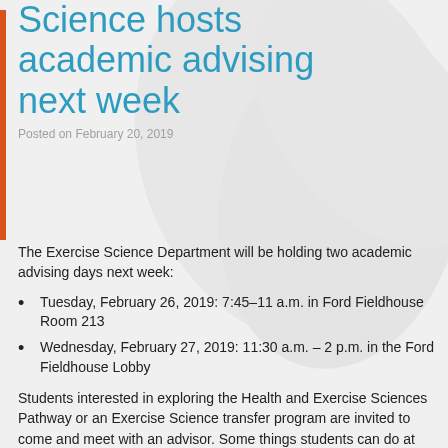Science hosts academic advising next week
Posted on February 20, 2019
The Exercise Science Department will be holding two academic advising days next week:
Tuesday, February 26, 2019: 7:45–11 a.m. in Ford Fieldhouse Room 213
Wednesday, February 27, 2019: 11:30 a.m. – 2 p.m. in the Ford Fieldhouse Lobby
Students interested in exploring the Health and Exercise Sciences Pathway or an Exercise Science transfer program are invited to come and meet with an advisor. Some things students can do at advising day include: declare a major; make